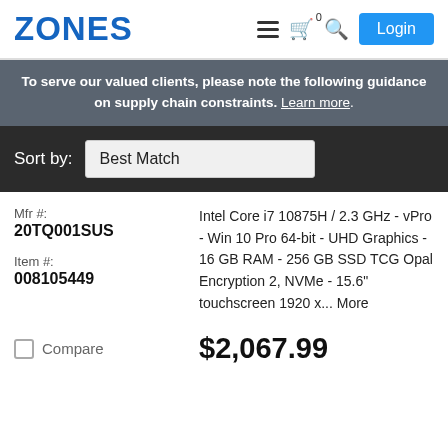ZONES
To serve our valued clients, please note the following guidance on supply chain constraints. Learn more.
Sort by: Best Match
Mfr #:
20TQ001SUS
Item #:
008105449
Intel Core i7 10875H / 2.3 GHz - vPro - Win 10 Pro 64-bit - UHD Graphics - 16 GB RAM - 256 GB SSD TCG Opal Encryption 2, NVMe - 15.6" touchscreen 1920 x... More
Compare
$2,067.99